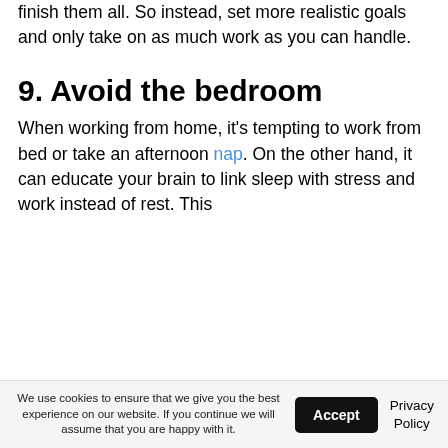finish them all. So instead, set more realistic goals and only take on as much work as you can handle.
9. Avoid the bedroom
When working from home, it's tempting to work from bed or take an afternoon nap. On the other hand, it can educate your brain to link sleep with stress and work instead of rest. This
We use cookies to ensure that we give you the best experience on our website. If you continue we will assume that you are happy with it.
Accept
Privacy Policy